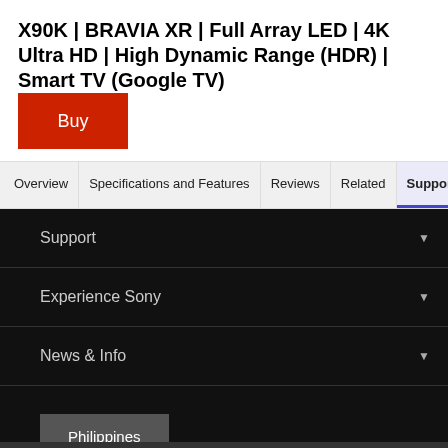X90K | BRAVIA XR | Full Array LED | 4K Ultra HD | High Dynamic Range (HDR) | Smart TV (Google TV)
Buy
Overview | Specifications and Features | Reviews | Related | Support
Support
Experience Sony
News & Info
Philippines